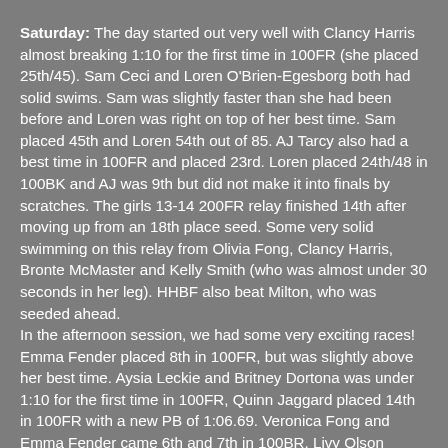Saturday: The day started out very well with Clancy Harris almost breaking 1:10 for the first time in 100FR (she placed 25th/45). Sam Ceci and Loren O'Brien-Egesborg both had solid swims. Sam was slightly faster than she had been before and Loren was right on top of her best time. Sam placed 45th and Loren 54th out of 85. AJ Tarcy also had a best time in 100FR and placed 23rd. Loren placed 24th/48 in 100BK and AJ was 9th but did not make it into finals by scratches. The girls 13-14 200FR relay finished 14th after moving up from an 18th place seed. Some very solid swimming on this relay from Olivia Fong, Clancy Harris, Bronte McMaster and Kelly Smith (who was almost under 30 seconds in her leg). HHBF also beat Milton, who was seeded ahead. In the afternoon session, we had some very exciting races! Emma Fender placed 8th in 100FR, but was slightly above her best time. Aysia Leckie and Britney Dortona was under 1:10 for the first time in 100FR, Quinn Jaggard placed 14th in 100FR with a new PB of 1:06.69. Veronica Fong and Emma Fender came 6th and 7th in 100BR. Livy Olson placed 14th in 100FLY in her very first race in this.